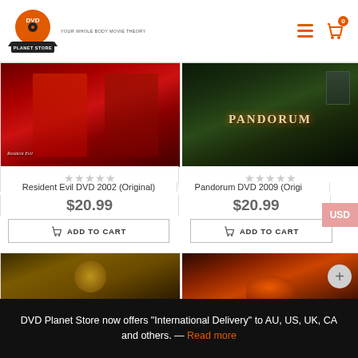[Figure (logo): DVD Planet Store logo with orange disc and text, tagline 'YOUR WHOLE BODY MOVIE THEORY']
[Figure (photo): Resident Evil DVD 2002 movie cover - red themed with two female figures]
[Figure (photo): Pandorum DVD 2009 movie cover - dark sci-fi imagery with PANDORUM text]
Resident Evil DVD 2002 (Original)
$20.99
ADD TO CART
Pandorum DVD 2009 (Original)
$20.99
ADD TO CART
[Figure (photo): Partially visible DVD cover bottom left - dark ochre/brown themed]
[Figure (photo): Partially visible DVD cover bottom right - orange/red volcanic themed]
DVD Planet Store now offers "International Delivery" to AU, US, UK, CA and others. — Read more